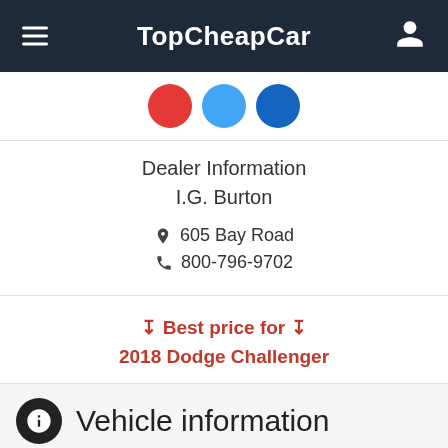TopCheapCar
[Figure (illustration): Three social media icon circles partially visible: red (YouTube), light blue (Twitter/email), dark blue (Facebook/LinkedIn)]
Dealer Information
I.G. Burton
605 Bay Road
800-796-9702
Best price for 2018 Dodge Challenger
Vehicle information
Year: 2018